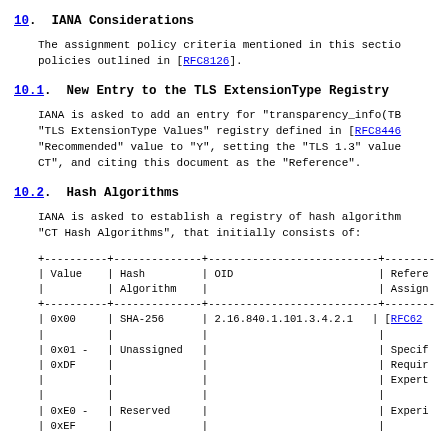10. IANA Considerations
The assignment policy criteria mentioned in this section policies outlined in [RFC8126].
10.1. New Entry to the TLS ExtensionType Registry
IANA is asked to add an entry for "transparency_info(TB "TLS ExtensionType Values" registry defined in [RFC8446 "Recommended" value to "Y", setting the "TLS 1.3" value CT", and citing this document as the "Reference".
10.2. Hash Algorithms
IANA is asked to establish a registry of hash algorithm "CT Hash Algorithms", that initially consists of:
| Value | Hash Algorithm | OID | Reference / Assign |
| --- | --- | --- | --- |
| 0x00 | SHA-256 | 2.16.840.1.101.3.4.2.1 | [RFC62... |
|  |  |  |  |
| 0x01 -
0xDF | Unassigned |  | Specif
Requir
Expert |
|  |  |  |  |
| 0xE0 -
0xEF | Reserved |  | Experi |